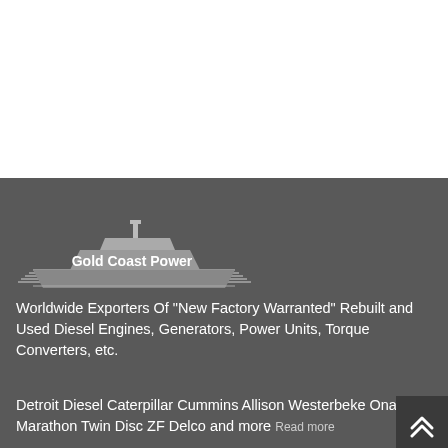[Figure (logo): Gold Coast Power logo with a yacht/boat silhouette above horizontal lines and the text 'Gold Coast Power']
Worldwide Exporters Of "New Factory Warranted" Rebuilt and Used Diesel Engines, Generators, Power Units, Torque Converters, etc.
Detroit Diesel Caterpillar Cummins Allison Westerbeke Onan Marathon Twin Disc ZF Delco and more Read more